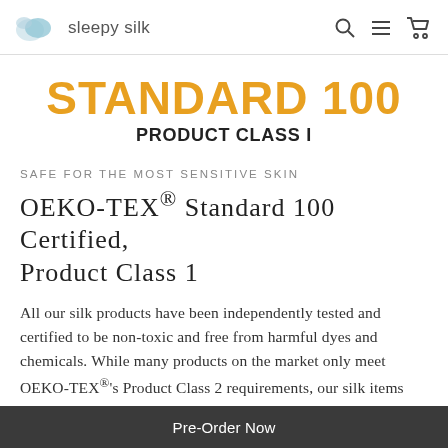sleepy silk
STANDARD 100
PRODUCT CLASS I
SAFE FOR THE MOST SENSITIVE SKIN
OEKO-TEX® Standard 100 Certified, Product Class 1
All our silk products have been independently tested and certified to be non-toxic and free from harmful dyes and chemicals. While many products on the market only meet OEKO-TEX®'s Product Class 2 requirements, our silk items meet the Product Class 1 requirements, being the highest
Pre-Order Now